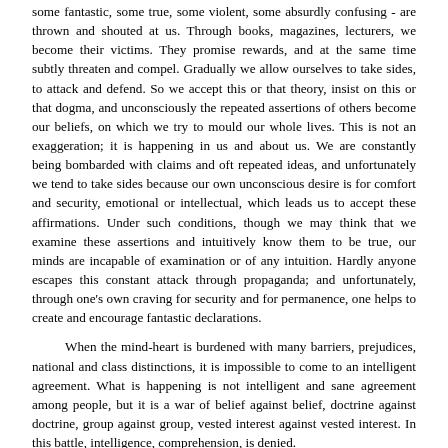some fantastic, some true, some violent, some absurdly confusing - are thrown and shouted at us. Through books, magazines, lecturers, we become their victims. They promise rewards, and at the same time subtly threaten and compel. Gradually we allow ourselves to take sides, to attack and defend. So we accept this or that theory, insist on this or that dogma, and unconsciously the repeated assertions of others become our beliefs, on which we try to mould our whole lives. This is not an exaggeration; it is happening in us and about us. We are constantly being bombarded with claims and oft repeated ideas, and unfortunately we tend to take sides because our own unconscious desire is for comfort and security, emotional or intellectual, which leads us to accept these affirmations. Under such conditions, though we may think that we examine these assertions and intuitively know them to be true, our minds are incapable of examination or of any intuition. Hardly anyone escapes this constant attack through propaganda; and unfortunately, through one's own craving for security and for permanence, one helps to create and encourage fantastic declarations.
When the mind-heart is burdened with many barriers, prejudices, national and class distinctions, it is impossible to come to an intelligent agreement. What is happening is not intelligent and sane agreement among people, but it is a war of belief against belief, doctrine against doctrine, group against group, vested interest against vested interest. In this battle, intelligence, comprehension, is denied.